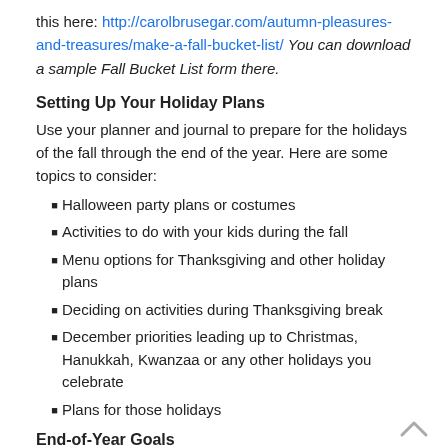this here: http://carolbrusegar.com/autumn-pleasures-and-treasures/make-a-fall-bucket-list/ You can download a sample Fall Bucket List form there.
Setting Up Your Holiday Plans
Use your planner and journal to prepare for the holidays of the fall through the end of the year. Here are some topics to consider:
Halloween party plans or costumes
Activities to do with your kids during the fall
Menu options for Thanksgiving and other holiday plans
Deciding on activities during Thanksgiving break
December priorities leading up to Christmas, Hanukkah, Kwanzaa or any other holidays you celebrate
Plans for those holidays
End-of-Year Goals